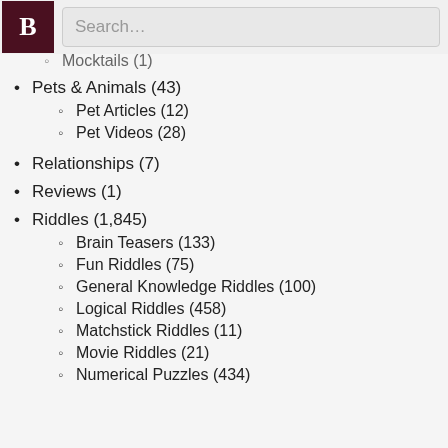B [logo] Search...
Mocktails (1)
Pets & Animals (43)
Pet Articles (12)
Pet Videos (28)
Relationships (7)
Reviews (1)
Riddles (1,845)
Brain Teasers (133)
Fun Riddles (75)
General Knowledge Riddles (100)
Logical Riddles (458)
Matchstick Riddles (11)
Movie Riddles (21)
Numerical Puzzles (434)